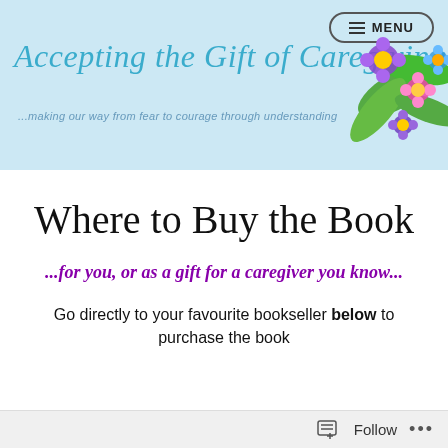[Figure (illustration): Website header banner with light blue background, showing the site title 'Accepting the Gift of Caregiving' in teal italic script, tagline '...making our way from fear to courage through understanding', a menu button top right, and floral illustration of purple and pink flowers with green leaves in the top right corner.]
Where to Buy the Book
...for you, or as a gift for a caregiver you know...
Go directly to your favourite bookseller below to purchase the book
Follow ...